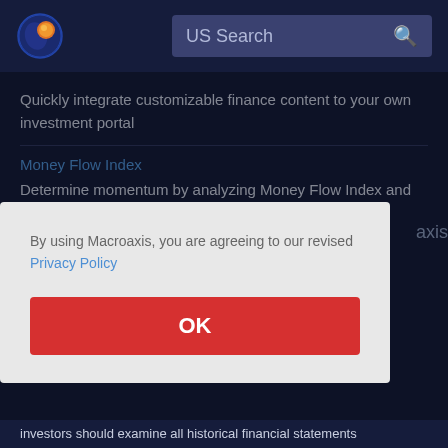[Figure (logo): Macroaxis globe logo — blue and orange circular icon]
US Search
Quickly integrate customizable finance content to your own investment portal
Money Flow Index
Determine momentum by analyzing Money Flow Index and other technical indicators
By using Macroaxis, you are agreeing to our revised Privacy Policy
OK
investors should examine all historical financial statements